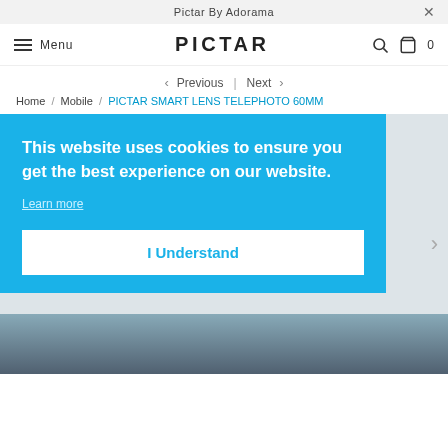Pictar By Adorama
PICTAR  Menu
< Previous  |  Next >
Home / Mobile / PICTAR SMART LENS TELEPHOTO 60MM
[Figure (photo): Product image area showing a camera lens on a light grey background with product imagery at the bottom]
This website uses cookies to ensure you get the best experience on our website. Learn more
I Understand